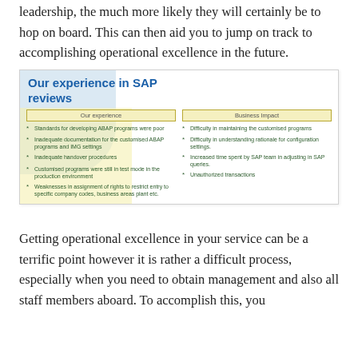leadership, the much more likely they will certainly be to hop on board. This can then aid you to jump on track to accomplishing operational excellence in the future.
[Figure (infographic): SAP reviews infographic showing two columns: 'Our experience' with bullet points about ABAP standards, documentation, handover procedures, production environment testing, and rights assignment weaknesses; and 'Business Impact' with bullet points about difficulty maintaining customised programs, understanding configuration rationale, increased SAP team time, and unauthorized transactions. Title reads 'Our experience in SAP reviews' in blue bold text.]
Getting operational excellence in your service can be a terrific point however it is rather a difficult process, especially when you need to obtain management and also all staff members aboard. To accomplish this, you